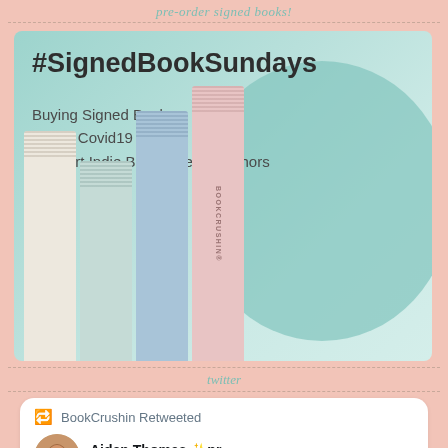pre-order signed books!
[Figure (illustration): BookCrushin promotional image for #SignedBookSundays featuring illustrated book spines on a teal background with text: Buying Signed Books during Covid19 Support Indie Bookstores & Authors]
twitter
BookCrushin Retweeted
Aiden Thomas ✨pr... @aidenschmaiden · 11h
🌟THE SUNBEARER TRIALS🌟